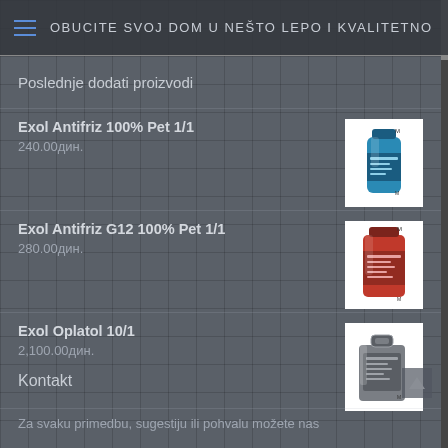OBUCITE SVOJ DOM U NEŠTO LEPO I KVALITETNO
Poslednje dodati proizvodi
Exol Antifriz 100% Pet 1/1
240.00дин.
[Figure (photo): Blue bottle of Exol Antifriz 100% Pet 1/1]
Exol Antifriz G12 100% Pet 1/1
280.00дин.
[Figure (photo): Red bottle of Exol Antifriz G12 100% Pet 1/1]
Exol Oplatol 10/1
2,100.00дин.
[Figure (photo): Large grey container of Exol Oplatol 10/1]
Kontakt
Za svaku primedbu, sugestiju ili pohvalu možete nas